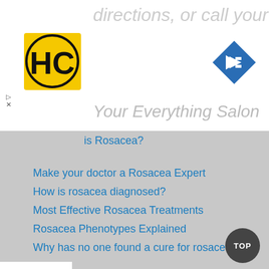directions, or call your salon!
[Figure (logo): HC logo - yellow square with black HC letters]
[Figure (other): Blue diamond navigation icon with right arrow]
Your Everything Salon
is Rosacea?
Make your doctor a Rosacea Expert
How is rosacea diagnosed?
Most Effective Rosacea Treatments
Rosacea Phenotypes Explained
Why has no one found a cure for rosacea?
User Reviews
Zilxi User Reviews
Rhofade User Reviews
Soolantra User Reviews
Mirvaso User Reviews